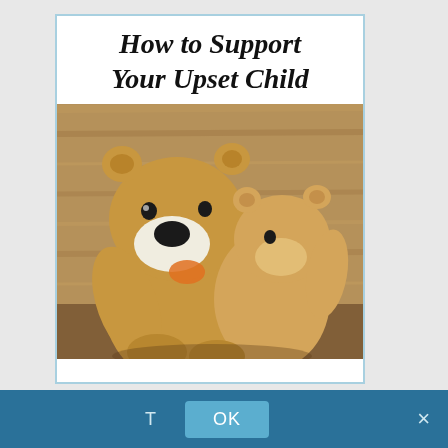How to Support Your Upset Child
[Figure (photo): Two teddy bears hugging — a large golden-brown bear embracing a smaller lighter-brown bear, set against a wooden background]
T   OK   ×